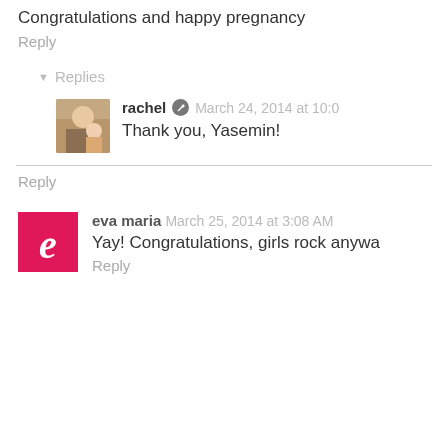Congratulations and happy pregnancy
Reply
▾  Replies
rachel  March 24, 2014 at 10:0
Thank you, Yasemin!
Reply
eva maria  March 25, 2014 at 3:08 AM
Yay! Congratulations, girls rock anywa
Reply